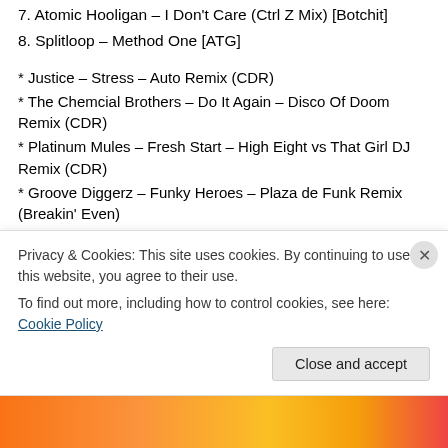7. Atomic Hooligan – I Don't Care (Ctrl Z Mix) [Botchit]
8. Splitloop – Method One [ATG]
* Justice – Stress – Auto Remix (CDR)
* The Chemcial Brothers – Do It Again – Disco Of Doom Remix (CDR)
* Platinum Mules – Fresh Start – High Eight vs That Girl DJ Remix (CDR)
* Groove Diggerz – Funky Heroes – Plaza de Funk Remix (Breakin' Even)
* Haagstrom feat. Terri Walker – Be My Baby – Peo de
Privacy & Cookies: This site uses cookies. By continuing to use this website, you agree to their use.
To find out more, including how to control cookies, see here: Cookie Policy
Close and accept